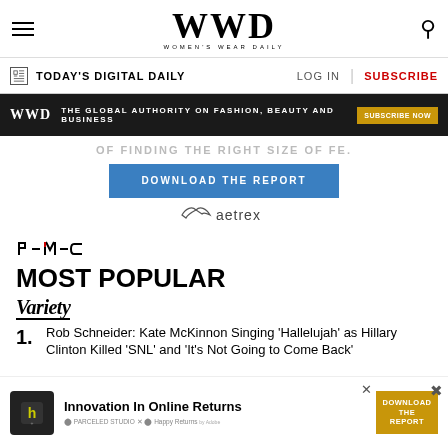WWD WOMEN'S WEAR DAILY
TODAY'S DIGITAL DAILY | LOG IN | SUBSCRIBE
[Figure (infographic): WWD black banner ad: THE GLOBAL AUTHORITY ON FASHION, BEAUTY AND BUSINESS — SUBSCRIBE NOW button]
OF FINDING THE RIGHT SIZE OF FE.
DOWNLOAD THE REPORT
[Figure (logo): Aetrex logo]
[Figure (logo): PMC logo]
MOST POPULAR
[Figure (logo): VARIETY logo]
Rob Schneider: Kate McKinnon Singing 'Hallelujah' as Hillary Clinton Killed 'SNL' and 'It's Not Going to Come Back'
[Figure (infographic): Bottom ad: Innovation In Online Returns with Happy Returns logo and DOWNLOAD THE REPORT button]